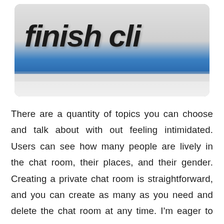[Figure (photo): A store front sign reading 'Finish Cli...' (Finish Line) with large italic black text on a white and blue background, photographed from below showing the storefront signage.]
There are a quantity of topics you can choose and talk about with out feeling intimidated. Users can see how many people are lively in the chat room, their places, and their gender. Creating a private chat room is straightforward, and you can create as many as you need and delete the chat room at any time. I'm eager to guide this software program, and I'm not simply scared to normally share our personal on-line relationship suppliers suggestions in public. If you realize some usernames, you would possibly also just search the name and meet a specific person and talk